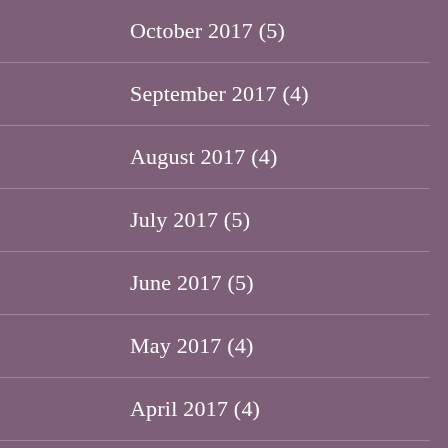October 2017 (5)
September 2017 (4)
August 2017 (4)
July 2017 (5)
June 2017 (5)
May 2017 (4)
April 2017 (4)
March 2017 (5)
February 2017 (4)